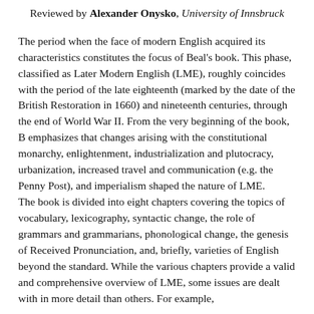Reviewed by Alexander Onysko, University of Innsbruck
The period when the face of modern English acquired its characteristics constitutes the focus of Beal's book. This phase, classified as Later Modern English (LME), roughly coincides with the period of the late eighteenth (marked by the date of the British Restoration in 1660) and nineteenth centuries, through the end of World War II. From the very beginning of the book, B emphasizes that changes arising with the constitutional monarchy, enlightenment, industrialization and plutocracy, urbanization, increased travel and communication (e.g. the Penny Post), and imperialism shaped the nature of LME.
The book is divided into eight chapters covering the topics of vocabulary, lexicography, syntactic change, the role of grammars and grammarians, phonological change, the genesis of Received Pronunciation, and, briefly, varieties of English beyond the standard. While the various chapters provide a valid and comprehensive overview of LME, some issues are dealt with in more detail than others. For example,